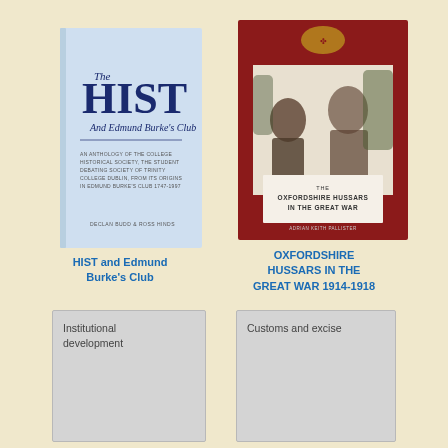[Figure (photo): Book cover: 'The HIST and Edmund Burke's Club' — light blue cover with large text HIST and subtitle about anthology of college historical society, Trinity College Dublin]
[Figure (photo): Book cover: 'The Oxfordshire Hussars in the Great War' — dark red cover with black and white photograph of a soldier, military imagery]
HIST and Edmund Burke's Club
OXFORDSHIRE HUSSARS IN THE GREAT WAR 1914-1918
[Figure (illustration): Placeholder card with text: Institutional development]
[Figure (illustration): Placeholder card with text: Customs and excise]